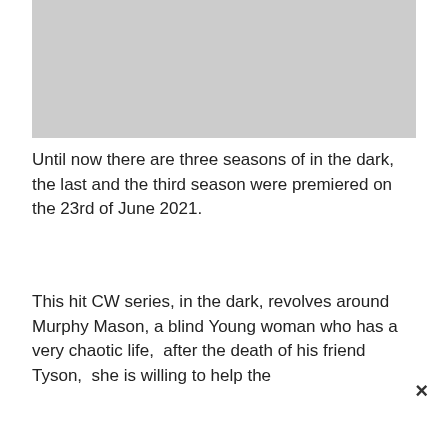[Figure (photo): Gray placeholder image area at the top of the page]
Until now there are three seasons of in the dark,  the last and the third season were premiered on the 23rd of June 2021.
This hit CW series, in the dark, revolves around Murphy Mason, a blind Young woman who has a very chaotic life,  after the death of his friend Tyson,  she is willing to help the